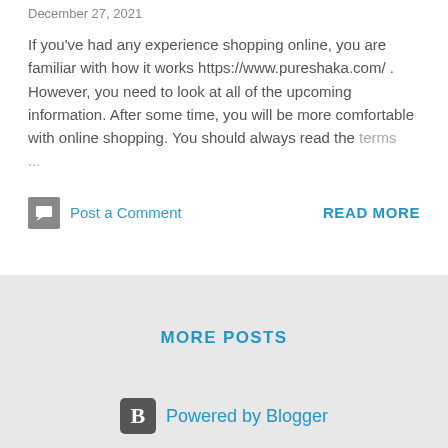December 27, 2021
If you've had any experience shopping online, you are familiar with how it works https://www.pureshaka.com/ . However, you need to look at all of the upcoming information. After some time, you will be more comfortable with online shopping. You should always read the terms …
Post a Comment
READ MORE
MORE POSTS
Powered by Blogger
Theme images by Michael Elkan